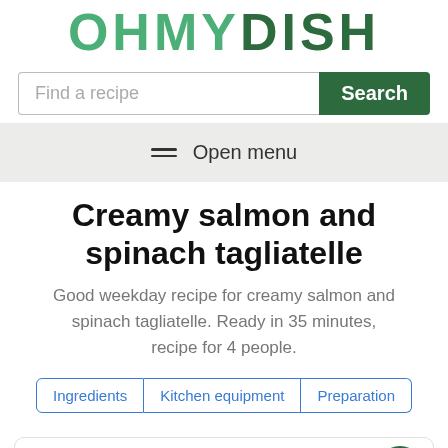[Figure (logo): OHMYDISH logo in stylized green lettering]
[Figure (screenshot): Search bar with placeholder 'Find a recipe' and green 'Search' button]
Open menu
Creamy salmon and spinach tagliatelle
Good weekday recipe for creamy salmon and spinach tagliatelle. Ready in 35 minutes, recipe for 4 people.
Ingredients | Kitchen equipment | Preparation